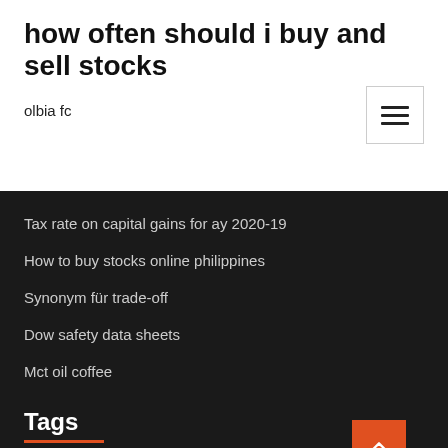how often should i buy and sell stocks
olbia fc
[Figure (other): Hamburger menu button icon with three horizontal lines]
Tax rate on capital gains for ay 2020-19
How to buy stocks online philippines
Synonym für trade-off
Dow safety data sheets
Mct oil coffee
Tags
Usd chf analysis today